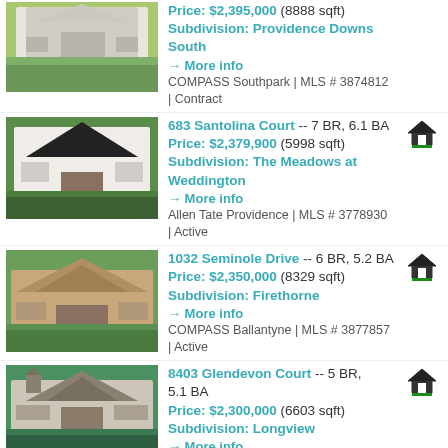[Figure (photo): Exterior photo of large white house with green lawn]
Price: $2,395,000 (8888 sqft) Subdivision: Providence Downs South → More info COMPASS Southpark | MLS # 3874812 | Contract
[Figure (photo): Exterior photo of modern black and white house]
683 Santolina Court -- 7 BR, 6.1 BA Price: $2,379,900 (5998 sqft) Subdivision: The Meadows at Weddington → More info Allen Tate Providence | MLS # 3778930 | Active
[Figure (photo): Exterior photo of brick house with trees]
1032 Seminole Drive -- 6 BR, 5.2 BA Price: $2,350,000 (8329 sqft) Subdivision: Firethorne → More info COMPASS Ballantyne | MLS # 3877857 | Active
[Figure (photo): Exterior photo of Tudor-style house]
8403 Glendevon Court -- 5 BR, 5.1 BA Price: $2,300,000 (6603 sqft) Subdivision: Longview → More info